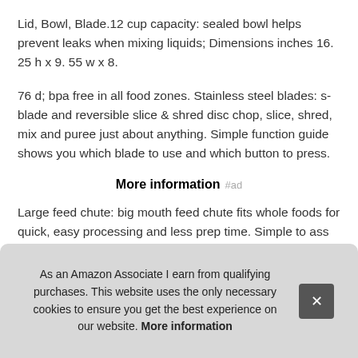Lid, Bowl, Blade.12 cup capacity: sealed bowl helps prevent leaks when mixing liquids; Dimensions inches 16. 25 h x 9. 55 w x 8.
76 d; bpa free in all food zones. Stainless steel blades: s-blade and reversible slice & shred disc chop, slice, shred, mix and puree just about anything. Simple function guide shows you which blade to use and which button to press.
More information #ad
Large feed chute: big mouth feed chute fits whole foods for quick, easy processing and less prep time. Simple to ass... twis... food... A po... sav...
As an Amazon Associate I earn from qualifying purchases. This website uses the only necessary cookies to ensure you get the best experience on our website. More information